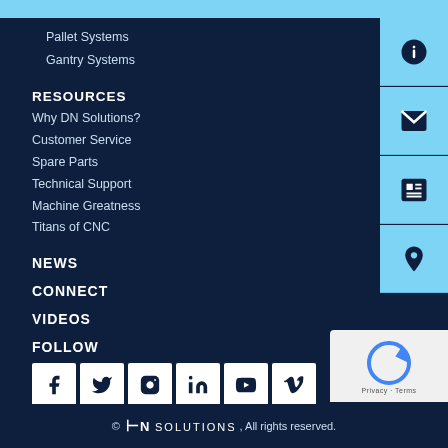Pallet Systems
Gantry Systems
RESOURCES
Why DN Solutions?
Customer Service
Spare Parts
Technical Support
Machine Greatness
Titans of CNC
NEWS
CONNECT
VIDEOS
FOLLOW
[Figure (infographic): Social media icons: Facebook, Twitter, Instagram, LinkedIn, YouTube, Vimeo]
[Figure (infographic): Side navigation buttons: info, email, news, location]
[Figure (logo): reCAPTCHA widget]
© DN SOLUTIONS, All rights reserved.